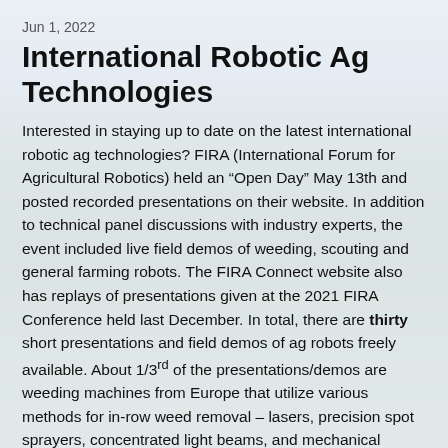Jun 1, 2022
International Robotic Ag Technologies
Interested in staying up to date on the latest international robotic ag technologies? FIRA (International Forum for Agricultural Robotics) held an “Open Day” May 13th and posted recorded presentations on their website. In addition to technical panel discussions with industry experts, the event included live field demos of weeding, scouting and general farming robots. The FIRA Connect website also has replays of presentations given at the 2021 FIRA Conference held last December. In total, there are thirty short presentations and field demos of ag robots freely available. About 1/3rd of the presentations/demos are weeding machines from Europe that utilize various methods for in-row weed removal – lasers, precision spot sprayers, concentrated light beams, and mechanical devices including knife blades, rotating